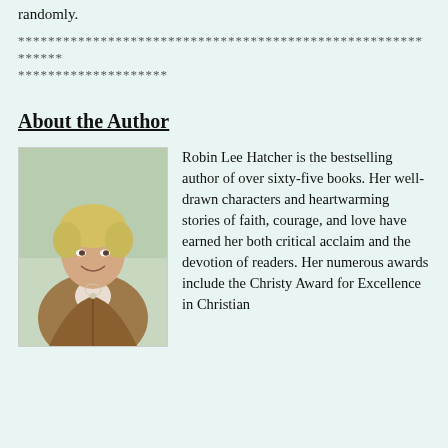randomly.
************************************************************
********************
About the Author
[Figure (photo): Portrait photo of Robin Lee Hatcher, a woman with short blonde hair wearing a brown jacket, smiling at the camera outdoors.]
Robin Lee Hatcher is the bestselling author of over sixty-five books. Her well-drawn characters and heartwarming stories of faith, courage, and love have earned her both critical acclaim and the devotion of readers. Her numerous awards include the Christy Award for Excellence in Christian